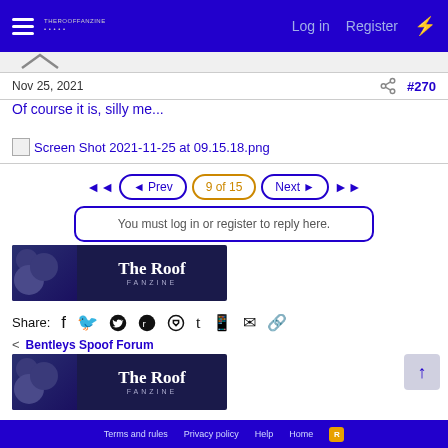Log in   Register
Nov 25, 2021   #270
Of course it is, silly me...
[Figure (other): Broken image placeholder with filename: Screen Shot 2021-11-25 at 09.15.18.png]
◄◄  ◄ Prev  9 of 15  Next ►  ►►
You must log in or register to reply here.
[Figure (illustration): The Roof Fanzine banner advertisement]
Share:
< Bentleys Spoof Forum
[Figure (illustration): The Roof Fanzine banner advertisement (second instance)]
Terms and rules   Privacy policy   Help   Home   RSS